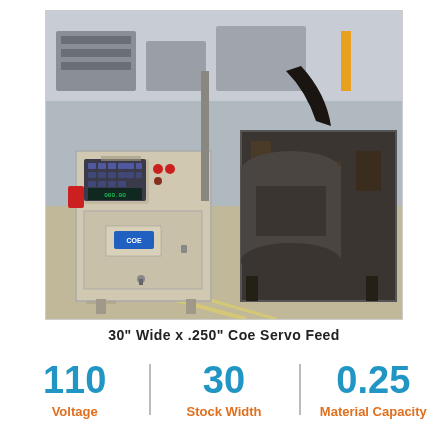[Figure (photo): Industrial Coe servo feed machine photographed in a factory/warehouse setting. Shows a control panel unit on the left with a keypad and red/blue buttons, and a large cylindrical/box-shaped industrial machine on the right, both appearing heavily used and somewhat dirty. Yellow line markings visible on the concrete floor.]
30" Wide x .250" Coe Servo Feed
110 Voltage
30 Stock Width
0.25 Material Capacity